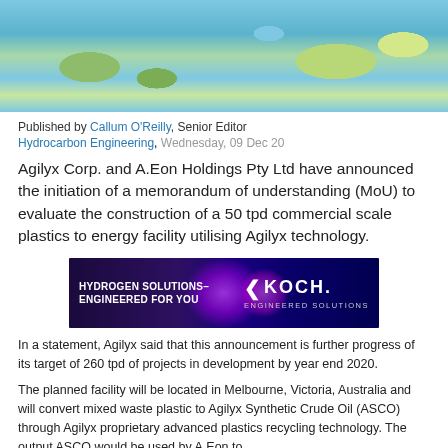[Figure (map): Partial map image showing Australia and surrounding region with ocean and landmasses in blue and green tones]
Published by Callum O'Reilly, Senior Editor
Hydrocarbon Engineering, Wednesday, 09 Dec 20
Agilyx Corp. and A.Eon Holdings Pty Ltd have announced the initiation of a memorandum of understanding (MoU) to evaluate the construction of a 50 tpd commercial scale plastics to energy facility utilising Agilyx technology.
[Figure (photo): Koch Engineered Solutions advertisement — Hydrogen Solutions Engineered For You]
In a statement, Agilyx said that this announcement is further progress of its target of 260 tpd of projects in development by year end 2020.
The planned facility will be located in Melbourne, Victoria, Australia and will convert mixed waste plastic to Agilyx Synthetic Crude Oil (ASCO) through Agilyx proprietary advanced plastics recycling technology. The output ASCO would be used by A.Eon to